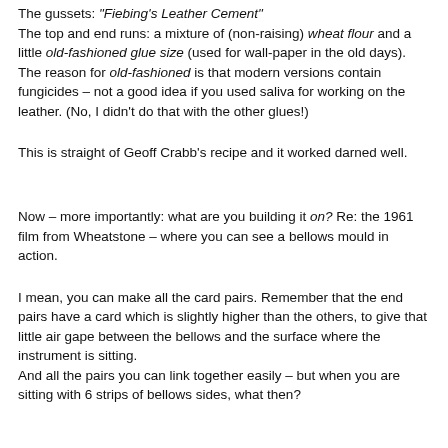The gussets: "Fiebing's Leather Cement"
The top and end runs: a mixture of (non-raising) wheat flour and a little old-fashioned glue size (used for wall-paper in the old days).
The reason for old-fashioned is that modern versions contain fungicides – not a good idea if you used saliva for working on the leather. (No, I didn't do that with the other glues!)
This is straight of Geoff Crabb's recipe and it worked darned well.
Now – more importantly: what are you building it on? Re: the 1961 film from Wheatstone – where you can see a bellows mould in action.
I mean, you can make all the card pairs. Remember that the end pairs have a card which is slightly higher than the others, to give that little air gape between the bellows and the surface where the instrument is sitting.
And all the pairs you can link together easily – but when you are sitting with 6 strips of bellows sides, what then?